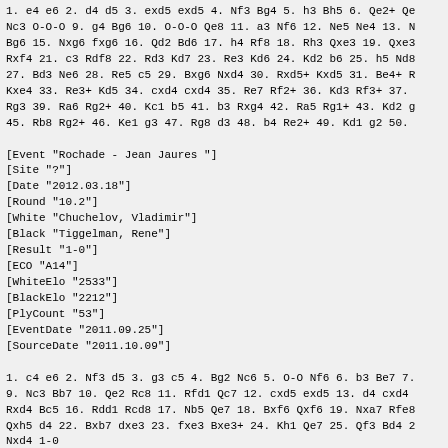1. e4 e6 2. d4 d5 3. exd5 exd5 4. Nf3 Bg4 5. h3 Bh5 6. Qe2+ Qe Nc3 O-O-O 9. g4 Bg6 10. O-O-O Qe8 11. a3 Nf6 12. Ne5 Ne4 13. N Bg6 15. Nxg6 fxg6 16. Qd2 Bd6 17. h4 Rf8 18. Rh3 Qxe3 19. Qxe3 Rxf4 21. c3 Rdf8 22. Rd3 Kd7 23. Re3 Kd6 24. Kd2 b6 25. h5 Nd8 27. Bd3 Ne6 28. Re5 c5 29. Bxg6 Nxd4 30. Rxd5+ Kxd5 31. Be4+ R Kxe4 33. Re3+ Kd5 34. cxd4 cxd4 35. Re7 Rf2+ 36. Kd3 Rf3+ 37. Rg3 39. Ra6 Rg2+ 40. Kc1 b5 41. b3 Rxg4 42. Ra5 Rg1+ 43. Kd2 g 45. Rb8 Rg2+ 46. Ke1 g3 47. Rg8 d3 48. b4 Re2+ 49. Kd1 g2 50.
[Event "Rochade - Jean Jaures "]
[Site "?"]
[Date "2012.03.18"]
[Round "10.2"]
[White "Chuchelov, Vladimir"]
[Black "Tiggelman, Rene"]
[Result "1-0"]
[ECO "A14"]
[WhiteElo "2533"]
[BlackElo "2212"]
[PlyCount "53"]
[EventDate "2011.09.25"]
[SourceDate "2011.10.09"]
1. c4 e6 2. Nf3 d5 3. g3 c5 4. Bg2 Nc6 5. O-O Nf6 6. b3 Be7 7. 9. Nc3 Bb7 10. Qe2 Rc8 11. Rfd1 Qc7 12. cxd5 exd5 13. d4 cxd4 Rxd4 Bc5 16. Rdd1 Rcd8 17. Nb5 Qe7 18. Bxf6 Qxf6 19. Nxa7 Rfe8 Qxh5 d4 22. Bxb7 dxe3 23. fxe3 Bxe3+ 24. Kh1 Qe7 25. Qf3 Bd4 2 Nxd4 1-0
[Event "Jean Jaures - Rochade"]
[Site "?"]
[Date "2012.03.18"]